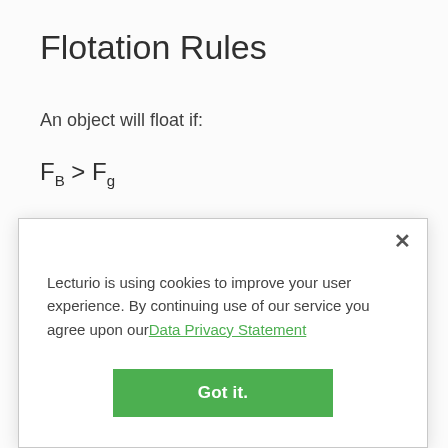Flotation Rules
An object will float if:
Lecturio is using cookies to improve your user experience. By continuing use of our service you agree upon our Data Privacy Statement
Got it.